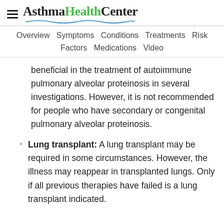AsthmaHealthCenter
Overview  Symptoms  Conditions  Treatments  Risk Factors  Medications  Video
beneficial in the treatment of autoimmune pulmonary alveolar proteinosis in several investigations. However, it is not recommended for people who have secondary or congenital pulmonary alveolar proteinosis.
Lung transplant: A lung transplant may be required in some circumstances. However, the illness may reappear in transplanted lungs. Only if all previous therapies have failed is a lung transplant indicated.